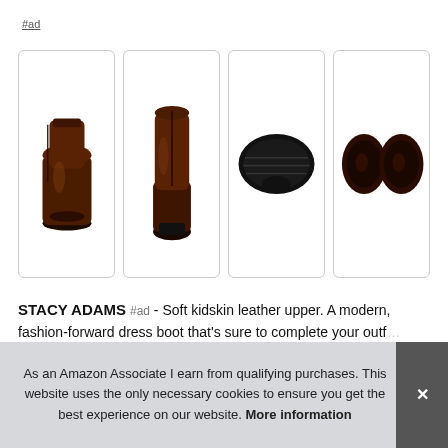#ad
[Figure (photo): Four product photos of Stacy Adams dark brown leather dress boots: front view, back/side view, bottom sole view, and top-down view]
STACY ADAMS #ad - Soft kidskin leather upper. A modern, fashion-forward dress boot that's sure to complete your outf... styl...
As an Amazon Associate I earn from qualifying purchases. This website uses the only necessary cookies to ensure you get the best experience on our website. More information